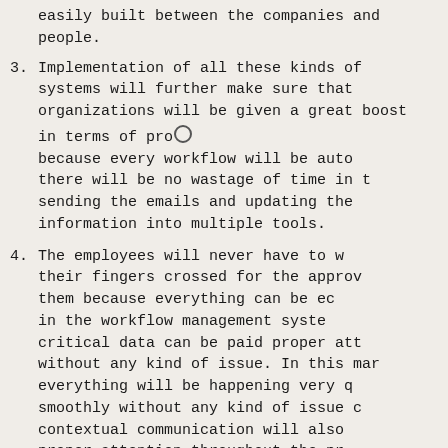easily built between the companies and people.
3. Implementation of all these kinds of systems will further make sure that organizations will be given a great boost in terms of productivity because every workflow will be automated and there will be no wastage of time in terms of sending the emails and updating the information into multiple tools.
4. The employees will never have to wait with their fingers crossed for the approvals given to them because everything can be easily managed in the workflow management system so that critical data can be paid proper attention without any kind of issue. In this manner, everything will be happening very quickly and smoothly without any kind of issue and contextual communication will also be paid proper attention throughout the process.
5. With the help of the right kind of sys...